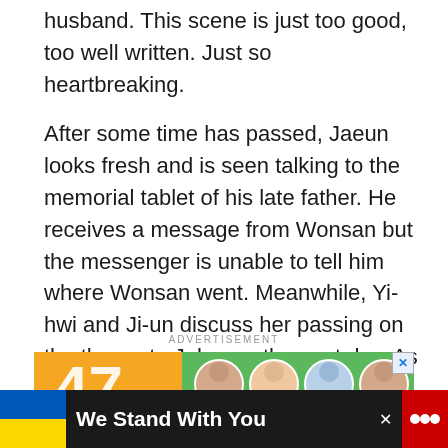husband. This scene is just too good, too well written. Just so heartbreaking.
After some time has passed, Jaeun looks fresh and is seen talking to the memorial tablet of his late father. He receives a message from Wonsan but the messenger is unable to tell him where Wonsan went. Meanwhile, Yi-hwi and Ji-un discuss her passing on the throne to Jehyeon the next day. As they are discussing Seok-jo, Bok-dong tells them that Ki-jae has disappeared from his cell.
ADVERTISEMENT
[Figure (photo): Advertisement banner with orange left side showing '47' in large white text and green right side with photos of people smiling, with a close X button]
[Figure (infographic): Bottom banner with Ukrainian flag colors (blue and yellow) on left, bold white text 'We Stand With You', a close X button, and CNN logo on right]